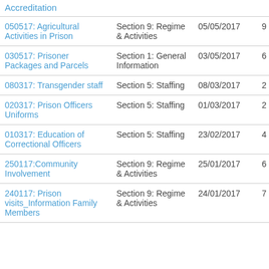| Accreditation |  |  |  |  |
| --- | --- | --- | --- | --- |
| 050517: Agricultural Activities in Prison | Section 9: Regime & Activities | 05/05/2017 | 9 |  |
| 030517: Prisoner Packages and Parcels | Section 1: General Information | 03/05/2017 | 6 |  |
| 080317: Transgender staff | Section 5: Staffing | 08/03/2017 | 2 |  |
| 020317: Prison Officers Uniforms | Section 5: Staffing | 01/03/2017 | 2 |  |
| 010317: Education of Correctional Officers | Section 5: Staffing | 23/02/2017 | 4 |  |
| 250117:Community Involvement | Section 9: Regime & Activities | 25/01/2017 | 6 |  |
| 240117: Prison visits_Information Family Members | Section 9: Regime & Activities | 24/01/2017 | 7 |  |